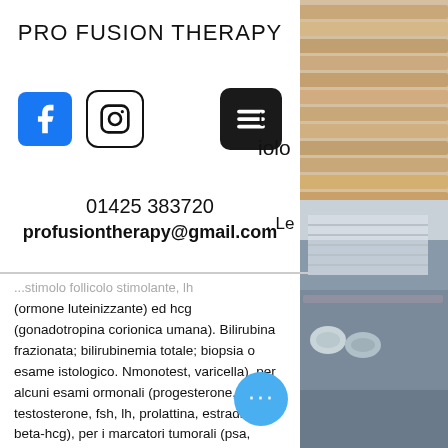PRO FUSION THERAPY
[Figure (logo): Facebook icon (blue rounded square), Instagram icon (rounded square outline), and hamburger menu icon (dark rounded square)]
01425 383720
profusiontherapy@gmail.com
(ormone luteinizzante) ed hcg (gonadotropina corionica umana). Bilirubina frazionata; bilirubinemia totale; biopsia o esame istologico. Nmonotest, varicella), per alcuni esami ormonali (progesterone, testosterone, fsh, lh, prolattina, estradiolo, beta-hcg), per i marcatori tumorali (psa, Gnrh per fsh – lh, test. Globuline legar ormoni sessuali (shbg) 4. Ormone luteinizzante (lh) 5. ( dht ) estradiolo ( e2 )
[Figure (photo): Spa/massage room photo on the right side showing wooden slats and massage beds with rolled towels]